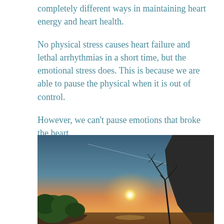completely different ways in maintaining heart energy and heart health.
No physical stress causes heart failure and lethal arrhythmias in a short time, but the emotional stress does. This is because we are able to pause the physical when it is out of control.
However, we can't pause emotions that broke the heart.
[Figure (photo): Landscape photo showing a sunset or sunrise scene with a bright sun low on the horizon, silhouetted bare trees on the right, green foliage on the left, rocky cliffs, and a gradient sky from blue at top to warm orange near the sun.]